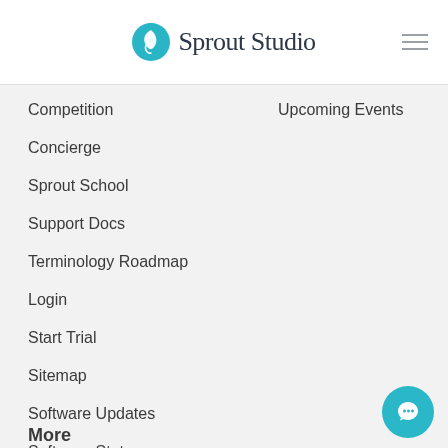[Figure (logo): Sprout Studio logo with teal leaf icon and script text]
Competition
Upcoming Events
Concierge
Sprout School
Support Docs
Terminology Roadmap
Login
Start Trial
Sitemap
Software Updates
Software Status
More
[Figure (illustration): Teal circular chat/messaging button with speech bubble icon]